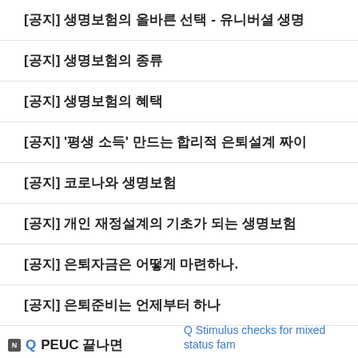[공지] 생명보험의 올바른 선택 - 유니버셜 생명...
[공지] 생명보험의 종류
[공지] 생명보험의 혜택
[공지] '평생 소득' 만드는 합리적 은퇴설계 짜...
[공지] 코로나와 생명보험
[공지] 개인 재정설계의 기초가 되는 생명보험
[공지] 은퇴자금은 어떻게 마련하나.
[공지] 은퇴준비는 언제부터 하나
Q PEUC 끝나면
Q Stimulus checks for mixed status fam...